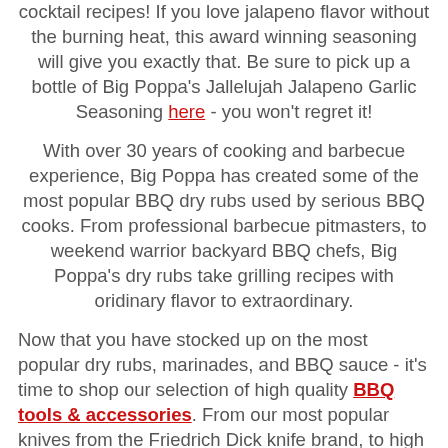cocktail recipes! If you love jalapeno flavor without the burning heat, this award winning seasoning will give you exactly that. Be sure to pick up a bottle of Big Poppa's Jallelujah Jalapeno Garlic Seasoning here - you won't regret it!
With over 30 years of cooking and barbecue experience, Big Poppa has created some of the most popular BBQ dry rubs used by serious BBQ cooks. From professional barbecue pitmasters, to weekend warrior backyard BBQ chefs, Big Poppa's dry rubs take grilling recipes with oridinary flavor to extraordinary.
Now that you have stocked up on the most popular dry rubs, marinades, and BBQ sauce - it's time to shop our selection of high quality BBQ tools & accessories. From our most popular knives from the Friedrich Dick knife brand, to high performance grill